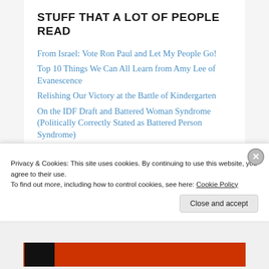STUFF THAT A LOT OF PEOPLE READ
From Israel: Vote Ron Paul and Let My People Go!
Top 10 Things We Can All Learn from Amy Lee of Evanescence
Relishing Our Victory at the Battle of Kindergarten
On the IDF Draft and Battered Woman Syndrome (Politically Correctly Stated as Battered Person Syndrome)
Libertarian Ambivalence on Yom HaAtzmaut, Israel Independence Day
I'm voting Arabs unless someone pays me not to
G20 Sets the Stage for a Global Bail-in, OR: The Protocols of the Elders of Global Finance
Privacy & Cookies: This site uses cookies. By continuing to use this website, you agree to their use.
To find out more, including how to control cookies, see here: Cookie Policy
Close and accept